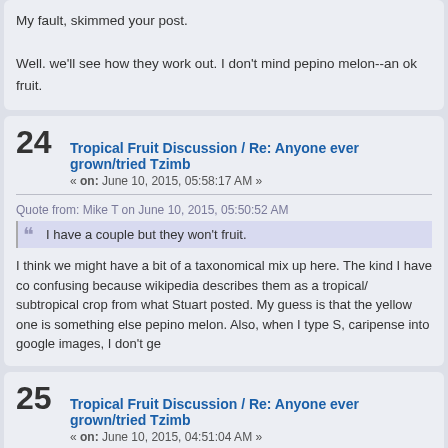My fault, skimmed your post.

Well. we'll see how they work out. I don't mind pepino melon--an ok fruit.
24  Tropical Fruit Discussion / Re: Anyone ever grown/tried Tzimb
« on: June 10, 2015, 05:58:17 AM »
Quote from: Mike T on June 10, 2015, 05:50:52 AM
I have a couple but they won't fruit.
I think we might have a bit of a taxonomical mix up here. The kind I have co confusing because wikipedia describes them as a tropical/ subtropical crop from what Stuart posted. My guess is that the yellow one is something else pepino melon. Also, when I type S, caripense into google images, I don't ge
25  Tropical Fruit Discussion / Re: Anyone ever grown/tried Tzimb
« on: June 10, 2015, 04:51:04 AM »